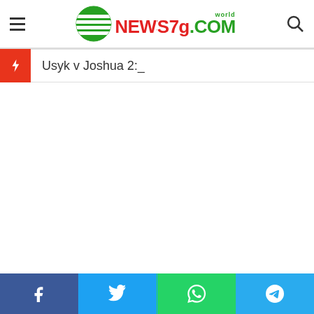world NEWS7g.COM
Usyk v Joshua 2:_
Facebook Twitter WhatsApp Telegram